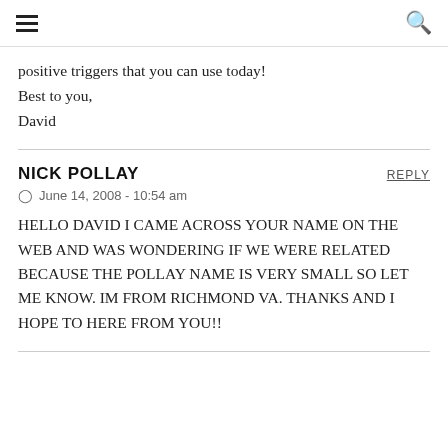≡  🔍
positive triggers that you can use today!
Best to you,
David
NICK POLLAY
June 14, 2008 - 10:54 am
HELLO DAVID I CAME ACROSS YOUR NAME ON THE WEB AND WAS WONDERING IF WE WERE RELATED BECAUSE THE POLLAY NAME IS VERY SMALL SO LET ME KNOW. IM FROM RICHMOND VA. THANKS AND I HOPE TO HERE FROM YOU!!